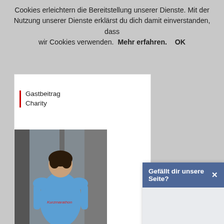Cookies erleichtern die Bereitstellung unserer Dienste. Mit der Nutzung unserer Dienste erklärst du dich damit einverstanden, dass wir Cookies verwenden. Mehr erfahren. OK
Gastbeitrag ... Charity
[Figure (photo): Person in a blue shirt seen from behind, standing near a glass door]
War jut jew... Eindrücke v... Marathon 2...
Gefällt dir unsere Seite?